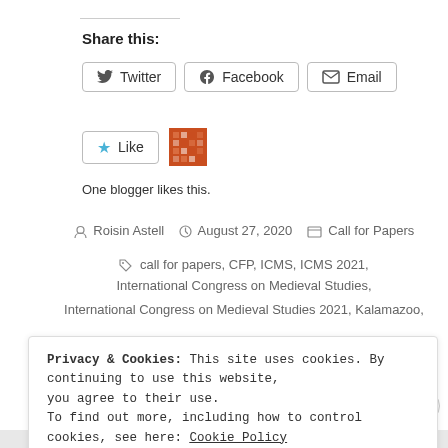Share this:
Twitter  Facebook  Email
Like  One blogger likes this.
Roisin Astell  August 27, 2020  Call for Papers
call for papers, CFP, ICMS, ICMS 2021, International Congress on Medieval Studies, International Congress on Medieval Studies 2021, Kalamazoo,
Privacy & Cookies: This site uses cookies. By continuing to use this website, you agree to their use. To find out more, including how to control cookies, see here: Cookie Policy
Close and accept